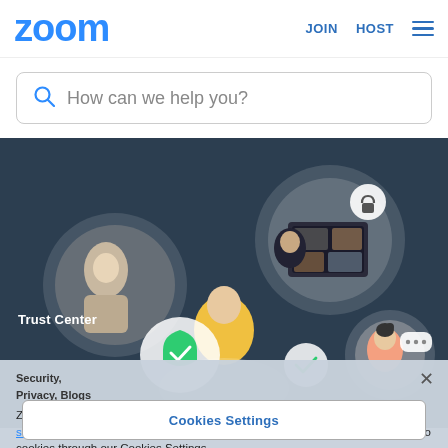zoom   JOIN   HOST
How can we help you?
[Figure (illustration): Dark navy background with illustrated circular vignettes showing Zoom use cases: a person working at a computer, a video call with a lock/security icon, a person in yellow shirt with a green shield checkmark, a woman thinking with a chat bubble showing dots, and a white speech bubble with a checkmark.]
Trust Center
Security, Privacy, Blogs
Zoom uses cookies and similar technologies as described in our cookie statement. You can manage your cookie settings or exercise your rights related to cookies through our Cookies Settings.
Additional Settings Resources
Cookies Settings